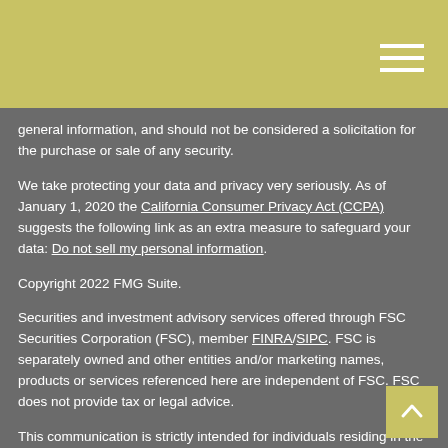general information, and should not be considered a solicitation for the purchase or sale of any security.
We take protecting your data and privacy very seriously. As of January 1, 2020 the California Consumer Privacy Act (CCPA) suggests the following link as an extra measure to safeguard your data: Do not sell my personal information.
Copyright 2022 FMG Suite.
Securities and investment advisory services offered through FSC Securities Corporation (FSC), member FINRA/SIPC. FSC is separately owned and other entities and/or marketing names, products or services referenced here are independent of FSC. FSC does not provide tax or legal advice.
This communication is strictly intended for individuals residing in the states of FL and OH. No offers may be made or accepted from any resident outside the specific state(s) referenced.